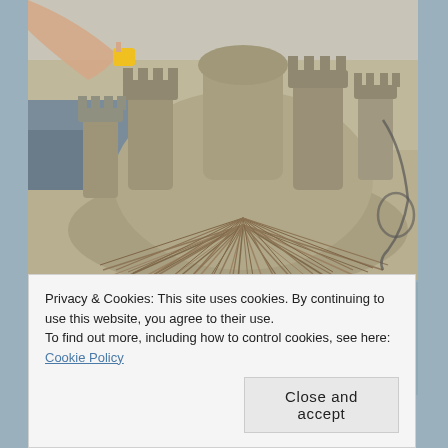[Figure (photo): A sand castle sculpture on a beach with a thatch/straw skirt at the base. A person's arm is visible at the top left holding a yellow object. The sand castle has multiple towers and turrets. There is a rope or cord visible at the right side.]
P.S.  The artists were quoted as saying the sand was not sticking together well this year, so perhaps next year even better work, although I thought some of these
Privacy & Cookies: This site uses cookies. By continuing to use this website, you agree to their use.
To find out more, including how to control cookies, see here: Cookie Policy
Close and accept